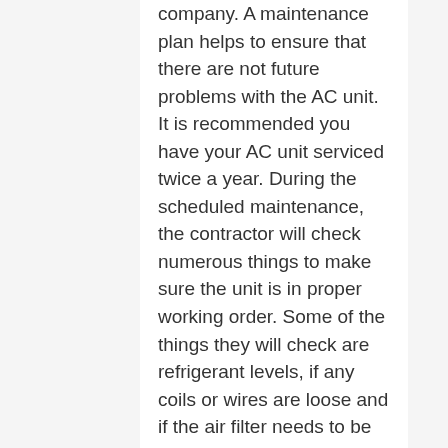company. A maintenance plan helps to ensure that there are not future problems with the AC unit. It is recommended you have your AC unit serviced twice a year. During the scheduled maintenance, the contractor will check numerous things to make sure the unit is in proper working order. Some of the things they will check are refrigerant levels, if any coils or wires are loose and if the air filter needs to be changed. Conducting regular maintenance on your AC unit can help prevent major repairs by correcting a